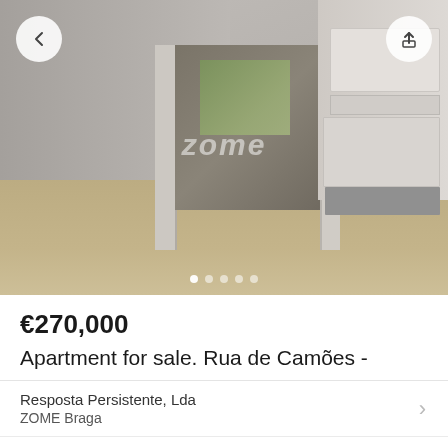[Figure (photo): Interior photo of a renovated apartment showing open plan living area with light wood floors, doorways leading to other rooms, and a kitchen area with white upper and lower cabinets on the right. A watermark 'zome' is visible in the center.]
€270,000
Apartment for sale. Rua de Camões -
Resposta Persistente, Lda
ZOME Braga
Contact agent